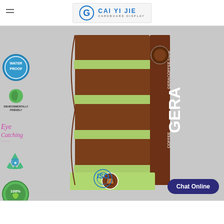[Figure (logo): CAI YI JIE Cardboard Display logo with stylized G icon and blue brand name]
[Figure (photo): Product photo of a tall brown and green GERA Coffee cardboard display stand with multiple shelves, waterproof, eco-friendly, eye-catching, recyclable, and 100% certification icons on the left side, ISO badge at bottom, and Chat Online button overlay]